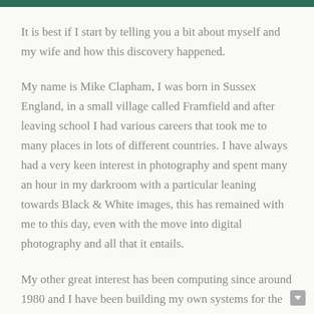It is best if I start by telling you a bit about myself and my wife and how this discovery happened.
My name is Mike Clapham, I was born in Sussex England, in a small village called Framfield and after leaving school I had various careers that took me to many places in lots of different countries. I have always had a very keen interest in photography and spent many an hour in my darkroom with a particular leaning towards Black & White images, this has remained with me to this day, even with the move into digital photography and all that it entails.
My other great interest has been computing since around 1980 and I have been building my own systems for the last 30 years, another thing that has